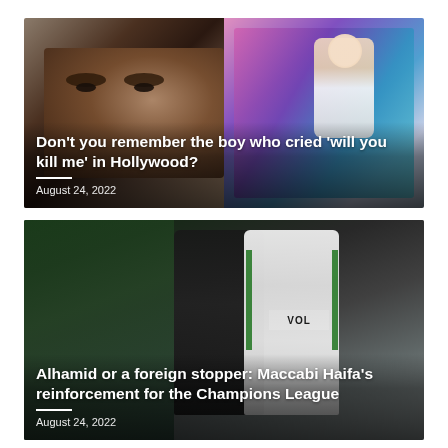[Figure (photo): Two-panel image: left side shows a close-up of a young boy's face with intense expression, right side shows a young blonde child standing in front of colorful mural artwork]
Don’t you remember the boy who cried ‘will you kill me’ in Hollywood?
August 24, 2022
[Figure (photo): Soccer players in green and black uniforms, one wearing a Maccabi Haifa jersey with VOL sponsor text visible]
Alhamid or a foreign stopper: Maccabi Haifa’s reinforcement for the Champions League
August 24, 2022